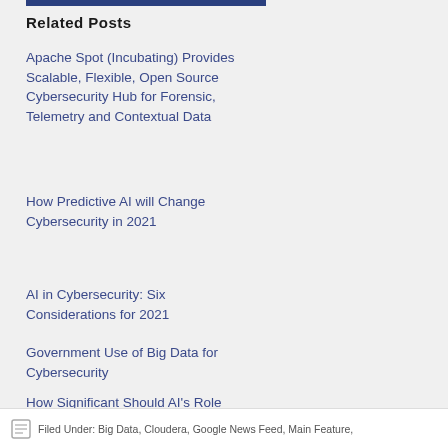Related Posts
Apache Spot (Incubating) Provides Scalable, Flexible, Open Source Cybersecurity Hub for Forensic, Telemetry and Contextual Data
How Predictive AI will Change Cybersecurity in 2021
AI in Cybersecurity: Six Considerations for 2021
Government Use of Big Data for Cybersecurity
How Significant Should AI's Role In Cybersecurity Be?
Filed Under: Big Data, Cloudera, Google News Feed, Main Feature,